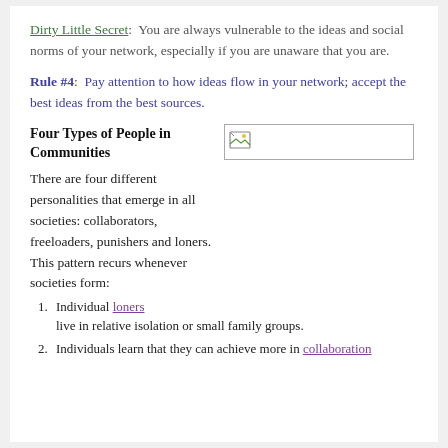Dirty Little Secret:  You are always vulnerable to the ideas and social norms of your network, especially if you are unaware that you are.
Rule #4:  Pay attention to how ideas flow in your network; accept the best ideas from the best sources.
Four Types of People in Communities
[Figure (photo): Small broken image placeholder icon]
There are four different personalities that emerge in all societies: collaborators, freeloaders, punishers and loners.  This pattern recurs whenever societies form:
Individual loners live in relative isolation or small family groups.
Individuals learn that they can achieve more in collaboration